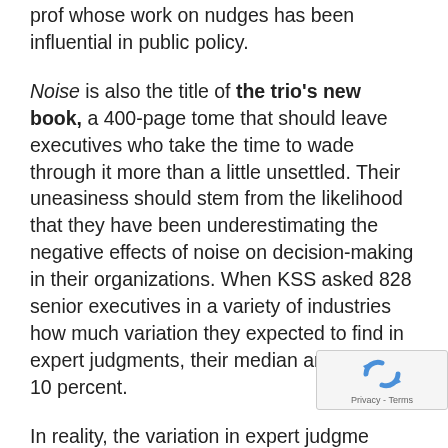prof whose work on nudges has been influential in public policy.
Noise is also the title of the trio's new book, a 400-page tome that should leave executives who take the time to wade through it more than a little unsettled. Their uneasiness should stem from the likelihood that they have been underestimating the negative effects of noise on decision-making in their organizations. When KSS asked 828 senior executives in a variety of industries how much variation they expected to find in expert judgments, their median answer was 10 percent.
In reality, the variation in expert judgments can be four to five times that. When two